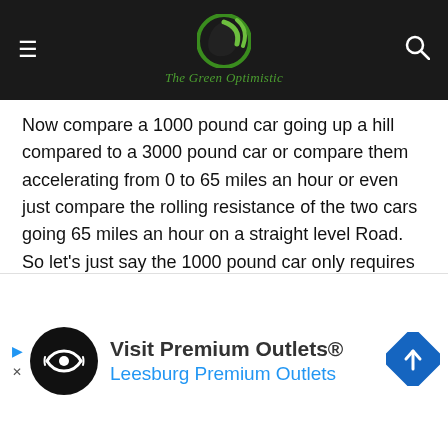The Green Optimistic
Now compare a 1000 pound car going up a hill compared to a 3000 pound car or compare them accelerating from 0 to 65 miles an hour or even just compare the rolling resistance of the two cars going 65 miles an hour on a straight level Road. So let's just say the 1000 pound car only requires half as much energy to operate. In this scenario a 50% efficient hydrogen car will be equal to a 100% efficient battery powered car. In this scenario the hydrogen car wins by 20%. Other advantages of the hydrogen car the system is lightweight it can be refilled within minutes the technology is available today remember 7 lb of hydrogen equals the same
[Figure (other): Advertisement banner for Visit Premium Outlets® / Leesburg Premium Outlets with logo icon and direction sign icon]